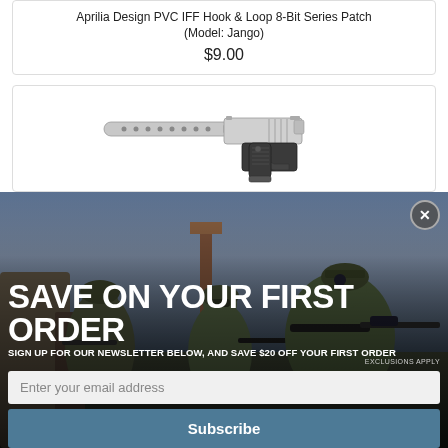Aprilia Design PVC IFF Hook & Loop 8-Bit Series Patch (Model: Jango)
$9.00
[Figure (photo): A silver/chrome handgun with suppressor on white background]
[Figure (photo): Military soldiers in camouflage gear aiming rifles, promotional overlay image]
SAVE ON YOUR FIRST ORDER
SIGN UP FOR OUR NEWSLETTER BELOW, AND SAVE $20 OFF YOUR FIRST ORDER
EXCLUSIONS APPLY
Enter your email address
Subscribe